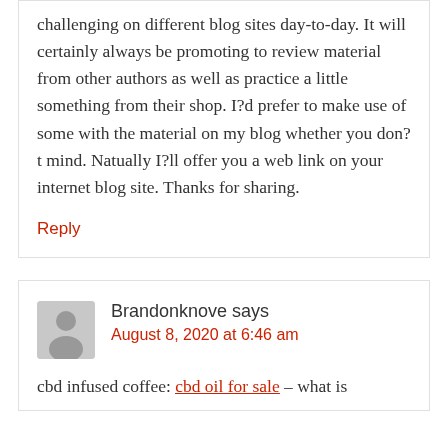challenging on different blog sites day-to-day. It will certainly always be promoting to review material from other authors as well as practice a little something from their shop. I?d prefer to make use of some with the material on my blog whether you don?t mind. Natually I?ll offer you a web link on your internet blog site. Thanks for sharing.
Reply
Brandonknove says
August 8, 2020 at 6:46 am
cbd infused coffee: cbd oil for sale – what is